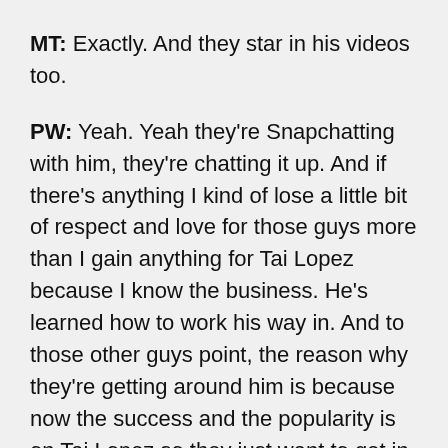MT: Exactly. And they star in his videos too.
PW: Yeah. Yeah they're Snapchatting with him, they're chatting it up. And if there's anything I kind of lose a little bit of respect and love for those guys more than I gain anything for Tai Lopez because I know the business. He's learned how to work his way in. And to those other guys point, the reason why they're getting around him is because now the success and the popularity is on Tai Lopez so they just want to get in there more. So, that's why I talk to people like yourself who have built true organic pages websites, long tail success versus you chasing internet stardom because again you are given out solid, solid, solid career advice. You're talking to very, very credible people about businesses and your views are crazy because at the